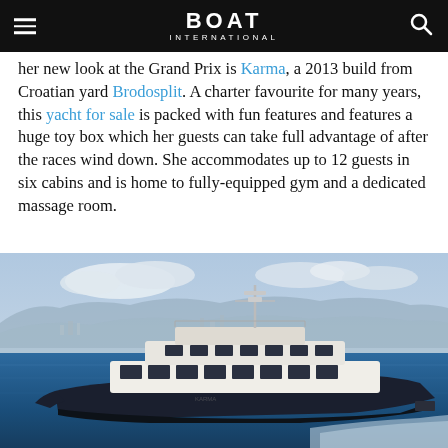BOAT International
her new look at the Grand Prix is Karma, a 2013 build from Croatian yard Brodosplit. A charter favourite for many years, this yacht for sale is packed with fun features and features a huge toy box which her guests can take full advantage of after the races wind down. She accommodates up to 12 guests in six cabins and is home to fully-equipped gym and a dedicated massage room.
[Figure (photo): A large motor yacht cruising on blue water with mountains and a coastal town visible in the background. The yacht has a dark navy hull with white superstructure and multiple decks.]